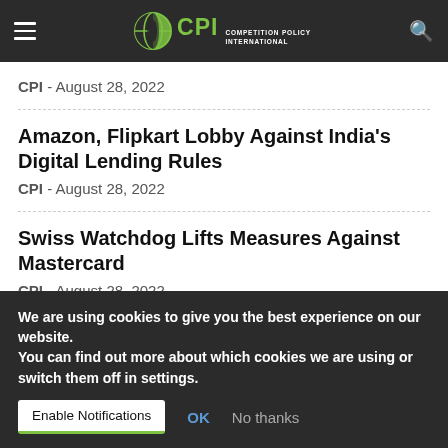CPI - Competition Policy International
CPI - August 28, 2022
Amazon, Flipkart Lobby Against India's Digital Lending Rules
CPI - August 28, 2022
Swiss Watchdog Lifts Measures Against Mastercard
CPI - August 28, 2022
We are using cookies to give you the best experience on our website.
You can find out more about which cookies we are using or switch them off in settings.